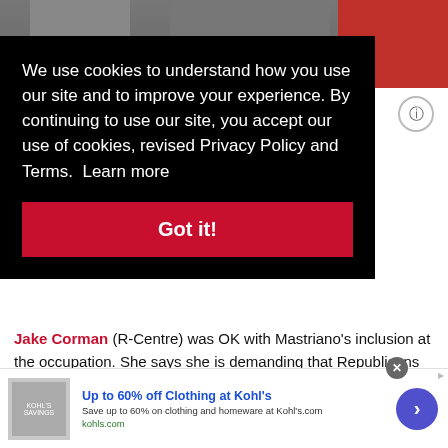[Figure (screenshot): Top portion of a news article page partially obscured by a cookie consent overlay. Shows a photo of people at the top, an info icon, and partial article text about Jake Corman and Mastriano.]
We use cookies to understand how you use our site and to improve your experience. By continuing to use our site, you accept our use of cookies, revised Privacy Policy and Terms.  Learn more
Got it!
Jake Corman (R-Centre) was OK with Mastriano's inclusion at the occupation. She says she is demanding that Republicans senators like Corman hold their own members accountable for their actions.
Up to 60% off Clothing at Kohl's
Save up to 60% on clothing and homeware at Kohl's.com
kohls.com